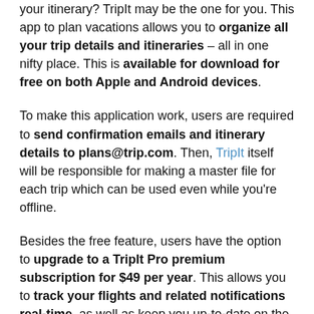your itinerary? TripIt may be the one for you. This app to plan vacations allows you to organize all your trip details and itineraries – all in one nifty place. This is available for download for free on both Apple and Android devices.
To make this application work, users are required to send confirmation emails and itinerary details to plans@trip.com. Then, TripIt itself will be responsible for making a master file for each trip which can be used even while you're offline.
Besides the free feature, users have the option to upgrade to a TripIt Pro premium subscription for $49 per year. This allows you to track your flights and related notifications real-time, as well as keep you up-to-date on the miles and rewards points you have earned.
In addition, you can access and share your itineraries with other people in your family, allowing them to be in the know